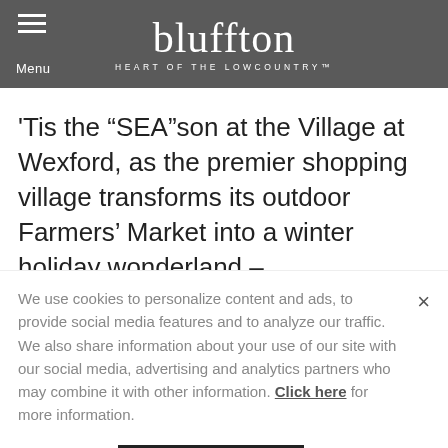bluffton HEART OF THE LOWCOUNTRY
'Tis the “SEA”son at the Village at Wexford, as the premier shopping village transforms its outdoor Farmers’ Market into a winter holiday wonderland –
We use cookies to personalize content and ads, to provide social media features and to analyze our traffic. We also share information about your use of our site with our social media, advertising and analytics partners who may combine it with other information. Click here for more information.
I AGREE